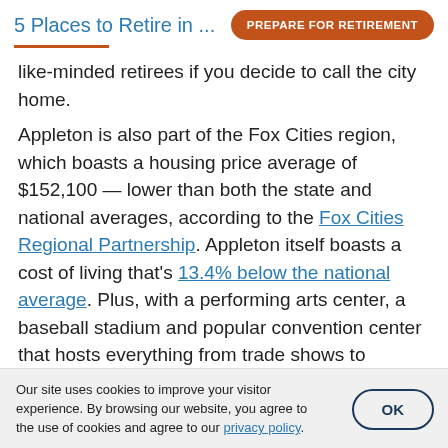5 Places to Retire in ... PREPARE FOR RETIREMENT
like-minded retirees if you decide to call the city home.
Appleton is also part of the Fox Cities region, which boasts a housing price average of $152,100 — lower than both the state and national averages, according to the Fox Cities Regional Partnership. Appleton itself boasts a cost of living that's 13.4% below the national average. Plus, with a performing arts center, a baseball stadium and popular convention center that hosts everything from trade shows to entertainment events,
Our site uses cookies to improve your visitor experience. By browsing our website, you agree to the use of cookies and agree to our privacy policy.